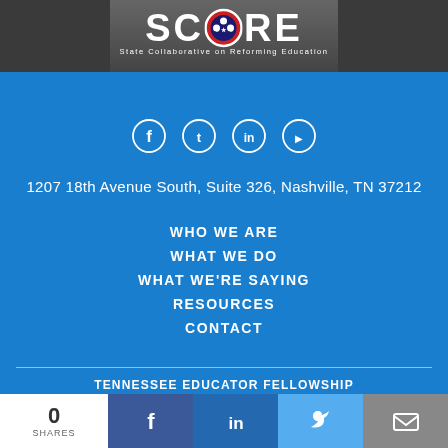[Figure (logo): SCORE logo - State Collaborative on Reforming Education, white text on blue background with Tennessee state seal replacing the O]
[Figure (infographic): Social media icons: Facebook, Twitter, LinkedIn, YouTube - white circular outlined icons]
1207 18th Avenue South, Suite 326, Nashville, TN 37212
WHO WE ARE
WHAT WE DO
WHAT WE'RE SAYING
RESOURCES
CONTACT
TENNESSEE EDUCATOR FELLOWSHIP
DRIVING FORWARD DIGITAL REPORT
EXCELLENCE FOR ALL
STATE OF EDUCATION IN TENNESSEE
0 SHARES  [Facebook] [LinkedIn] [Twitter] [Email]